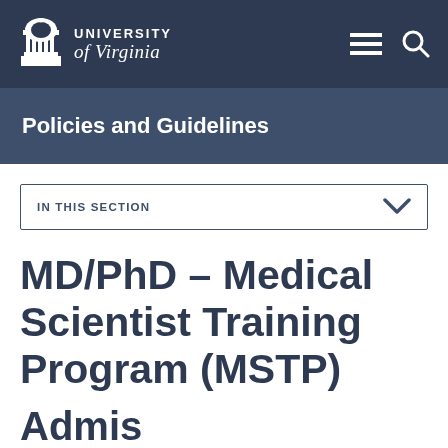University of Virginia
Policies and Guidelines
IN THIS SECTION
MD/PhD – Medical Scientist Training Program (MSTP)
Admis